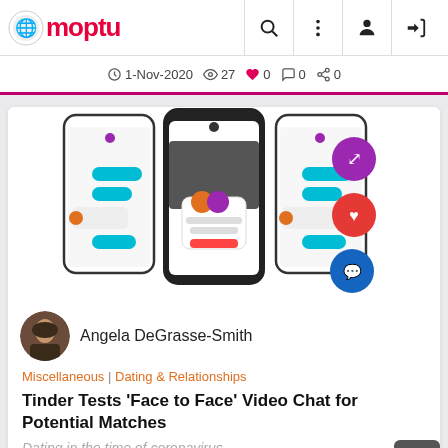Moptu — navigation bar with search, menu, user, and login icons
1-Nov-2020  27  0  0  0
[Figure (screenshot): Three smartphone screens showing a dating app chat interface with social action buttons (share, like, comment) overlaid on the right phone.]
Angela DeGrasse-Smith
Miscellaneous | Dating & Relationships
Tinder Tests 'Face to Face' Video Chat for Potential Matches
Dating in the time of coronavirus
View as Desktop